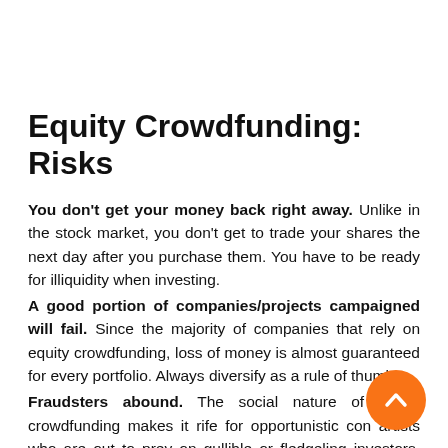Equity Crowdfunding: Risks
You don't get your money back right away. Unlike in the stock market, you don't get to trade your shares the next day after you purchase them. You have to be ready for illiquidity when investing.
A good portion of companies/projects campaigned will fail. Since the majority of companies that rely on equity crowdfunding, loss of money is almost guaranteed for every portfolio. Always diversify as a rule of thumb!
Fraudsters abound. The social nature of equity crowdfunding makes it rife for opportunistic con artists who are out to prey on gullible or fledgeling investors. Since there is no peer-review as in the primary and secondary